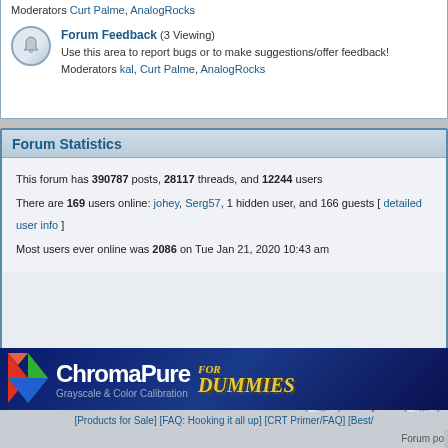Moderators Curt Palme, AnalogRocks
Forum Feedback (3 Viewing) Use this area to report bugs or to make suggestions/offer feedback! Moderators kal, Curt Palme, AnalogRocks
Forum Statistics
This forum has 390787 posts, 28117 threads, and 12244 users
There are 169 users online: johey, Serg57, 1 hidden user, and 166 guests [ detailed user info ]
Most users ever online was 2086 on Tue Jan 21, 2020 10:43 am
New posts
[Figure (illustration): ChromaPure advertisement banner - Grayscale & Color Calibration, For Dummies]
[ Products for Sale ] [ FAQ: Hooking it all up ] [ CRT Primer/FAQ ] [ Best/
Forum po